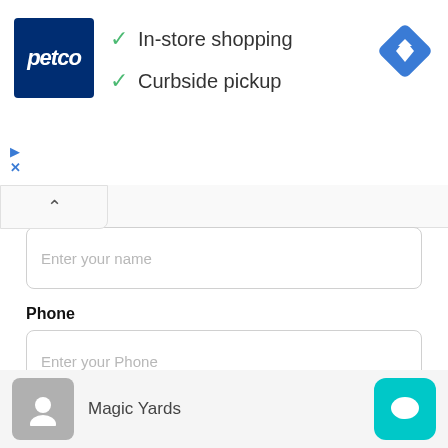[Figure (screenshot): Petco ad banner with logo, checkmarks for In-store shopping and Curbside pickup, and a blue navigation arrow icon]
✓ In-store shopping
✓ Curbside pickup
Enter your name
Phone
Enter your Phone
Email
Enter your email
Message
Magic Yards